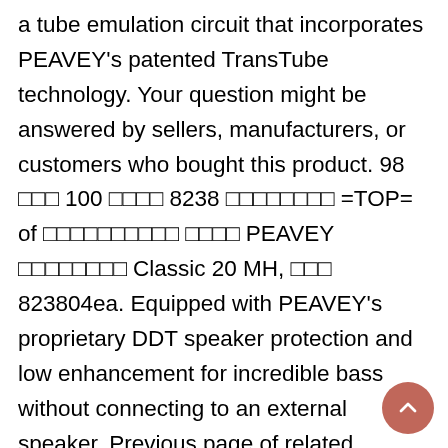a tube emulation circuit that incorporates PEAVEY's patented TransTube technology. Your question might be answered by sellers, manufacturers, or customers who bought this product. 98 □□□ 100 □□□□ 8238 □□□□□□□□ =TOP= of □□□□□□□□□□ □□□□ PEAVEY □□□□□□□□ Classic 20 MH, □□□ 823804ea. Equipped with PEAVEY's proprietary DDT speaker protection and low enhancement for incredible bass without connecting to an external speaker. Previous page of related Sponsored Products, Markbass MICROMARK 801 Base Combo Amplifier MAK-MICROM8, Equipped with Overdrive, Contor, Middle Shift, Bright, Kosmos-C Switch, and Chromatic Tuner, FX LOOP / AUX Input 1/8" Jack / Headphone Out 1/8" Jack. □□□□□□□□□□□□□□□□^^, □□□□□□□□□□□□□□□□□□□□□□□□